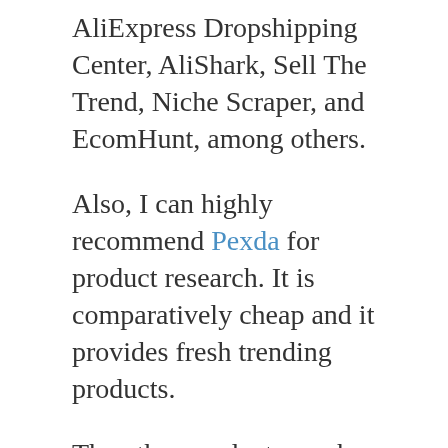AliExpress Dropshipping Center, AliShark, Sell The Trend, Niche Scraper, and EcomHunt, among others.
Also, I can highly recommend Pexda for product research. It is comparatively cheap and it provides fresh trending products.
The other product search tool that is often overlooked is Google Trends.
Well, besides being free, Google Trends gives you all the important insights into winning AliExpress tools, at all times, meaning that if you are only getting started, you may want to start with this Free Google tool before you can afford the other